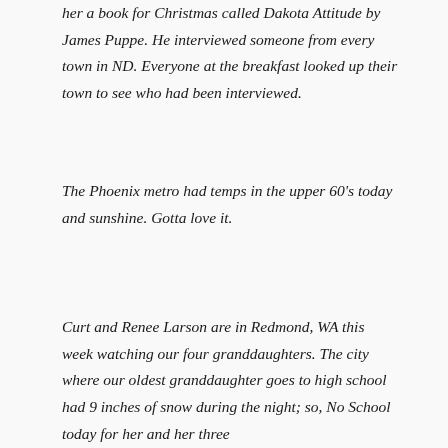her a book for Christmas called Dakota Attitude by James Puppe. He interviewed someone from every town in ND. Everyone at the breakfast looked up their town to see who had been interviewed.
The Phoenix metro had temps in the upper 60's today and sunshine. Gotta love it.
Curt and Renee Larson are in Redmond, WA this week watching our four granddaughters. The city where our oldest granddaughter goes to high school had 9 inches of snow during the night; so, No School today for her and her three